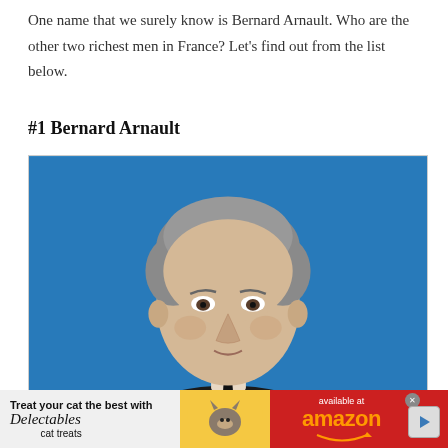One name that we surely know is Bernard Arnault. Who are the other two richest men in France? Let's find out from the list below.
#1 Bernard Arnault
[Figure (photo): Portrait photograph of Bernard Arnault, an older man with grey hair wearing a dark suit and black tie, against a blue background.]
[Figure (other): Advertisement banner: 'Treat your cat the best with Delectables cat treats, available at amazon' with cat image and golden heart shape, red right panel with Amazon logo.]